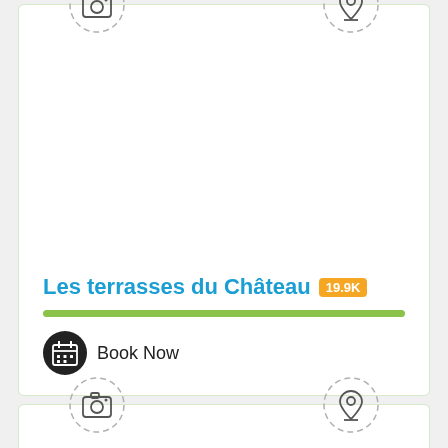[Figure (screenshot): Card UI with camera icon placeholder and map pin icon placeholder at top, with title 'Les terrasses du Château' with orange badge '19.9K', a green progress bar, and a Book Now button with calendar icon]
Les terrasses du Château 19.9K
Book Now
[Figure (screenshot): Second card UI with camera icon placeholder and map pin icon placeholder at top, content area empty]